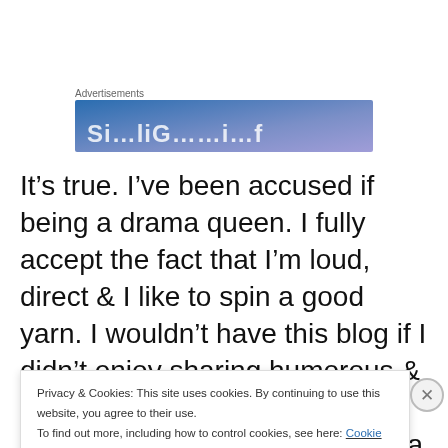Advertisements
[Figure (screenshot): Advertisement banner with blue-purple gradient and partial white text]
It’s true. I’ve been accused if being a drama queen. I fully accept the fact that I’m loud, direct & I like to spin a good yarn. I wouldn’t have this blog if I didn’t enjoy sharing humorous & dramatic tales. But lately I’ve coined the term “save the drama for the opera & the end-zone.” It’s just not always a good thing.
Privacy & Cookies: This site uses cookies. By continuing to use this website, you agree to their use.
To find out more, including how to control cookies, see here: Cookie Policy
Close and accept